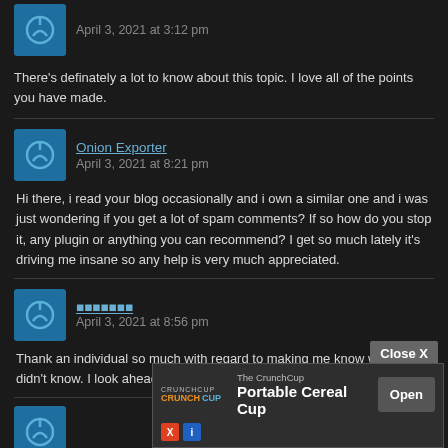April 3, 2021 at 3:12 pm
There's definately a lot to know about this topic. I love all of the points you have made.
Onion Exporter
April 3, 2021 at 8:21 pm
Hi there, i read your blog occasionally and i own a similar one and i was just wondering if you get a lot of spam comments? If so how do you stop it, any plugin or anything you can recommend? I get so much lately it's driving me insane so any help is very much appreciated.
■■■■■■■
April 3, 2021 at 8:56 pm
Thank an individual so much with regard to making me know what I didn’t know. I look ahead to working with you.
[Figure (other): Advertisement for The CrunchCup Portable Cereal Cup with Open button and Close X button overlay]